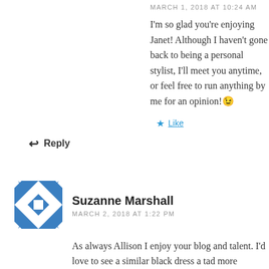MARCH 1, 2018 AT 10:24 AM
I'm so glad you're enjoying Janet! Although I haven't gone back to being a personal stylist, I'll meet you anytime, or feel free to run anything by me for an opinion!😉
★ Like
↩ Reply
Suzanne Marshall
MARCH 2, 2018 AT 1:22 PM
As always Allison I enjoy your blog and talent. I'd love to see a similar black dress a tad more forgiving for the unforgiving parts as we age! Great job.